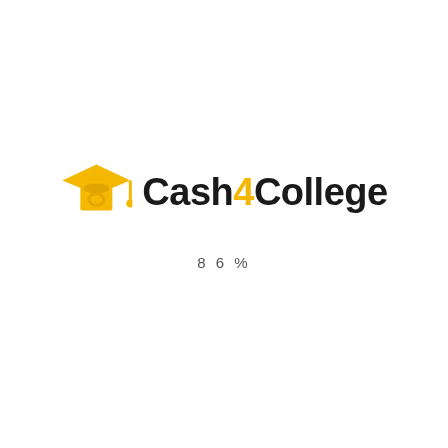[Figure (logo): Cash4College logo with a yellow graduation cap icon and bold text reading Cash4College with the 4 in yellow]
86%